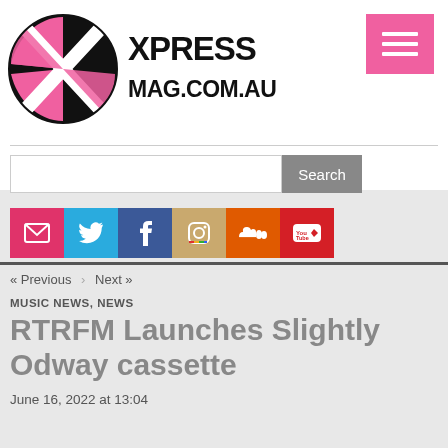[Figure (logo): Xpress Magazine logo: circular black and pink X shape, with text XPRESS MAG.COM.AU beside it]
[Figure (other): Pink hamburger/menu button in top right corner with three white horizontal lines]
[Figure (other): Search bar with text input and grey Search button]
[Figure (other): Social media icon buttons: email (pink), Twitter (blue), Facebook (dark blue), Instagram (tan/beige), SoundCloud (orange), YouTube (red)]
« Previous › Next »
MUSIC NEWS, NEWS
RTRFM Launches Slightly Odway cassette
June 16, 2022 at 13:04